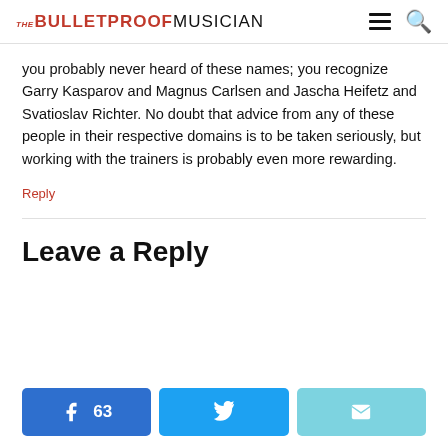THE BULLETPROOF MUSICIAN
you probably never heard of these names; you recognize Garry Kasparov and Magnus Carlsen and Jascha Heifetz and Svatioslav Richter. No doubt that advice from any of these people in their respective domains is to be taken seriously, but working with the trainers is probably even more rewarding.
Reply
Leave a Reply
[Figure (infographic): Three social share buttons: Facebook with count 63, Twitter, and Email]